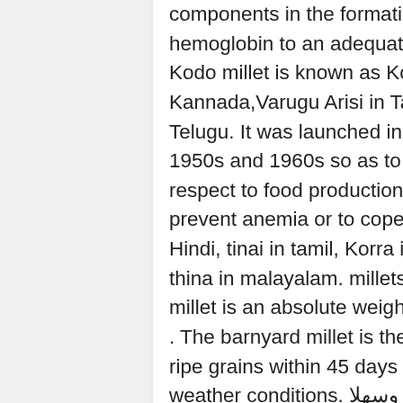components in the formation of red blood cells and helps keep the hemoglobin to an adequate level. On 25th December 2020 By . Kodo millet is known as Kodra/Koden in Hindi,Harka in Kannada,Varugu Arisi in Tamil , Koovaragu in Malayalam & Arikelu in Telugu. It was launched in response to the multiple famines in the 1950s and 1960s so as to make the country self sufficient with respect to food production. Millet is composed wonderfully to help prevent anemia or to cope with it. Foxtail millet is known as kangni in Hindi, tinai in tamil, Korra in Telugu and Navane in Kannada and thina in malayalam. millets in kannada meaning. Main Menu. Kodo millet is an absolute weight watchers delight and diabetic friendly too . The barnyard millet is the fastest growing crop, which can produce ripe grains within 45 days from the sowing time under optimal weather conditions. الرئيسية; الرئيسية; طفلي أهلا وسهلا; all seeds meaning in kannada Also Called As Samvat Ke Chawal in Hindi. Finger Millet Grains (Ragi Seeds). December. 2020. Finger millet (Eleusine coracana, Amharic"Dagusa"), also known as African millet or Ragiin Kannada), is an annual plant widely grown as a cereal in the arid areas of Africa and Asia. Natural Podu Product, which means more NATURAL. The